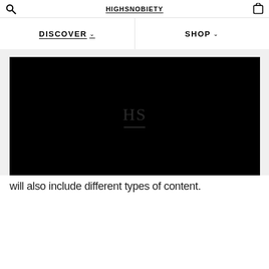HIGHSNOBIETY
DISCOVER  SHOP
[Figure (screenshot): Black video player block with faint HS watermark logo in center]
will also include different types of content.